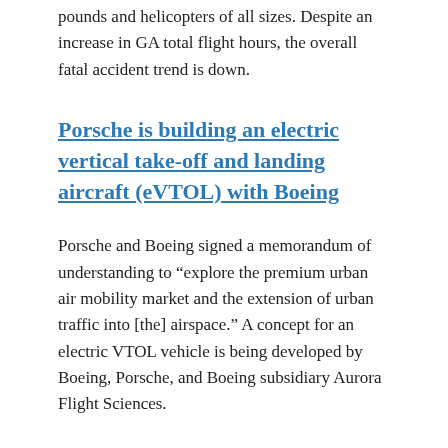pounds and helicopters of all sizes. Despite an increase in GA total flight hours, the overall fatal accident trend is down.
Porsche is building an electric vertical take-off and landing aircraft (eVTOL) with Boeing
Porsche and Boeing signed a memorandum of understanding to “explore the premium urban air mobility market and the extension of urban traffic into [the] airspace.” A concept for an electric VTOL vehicle is being developed by Boeing, Porsche, and Boeing subsidiary Aurora Flight Sciences.
Mentioned
Bell Fort Worth Alliance Air Show, October 19-20, 2019.
The D-Day Squadron announced a partnership with the documentary film Into Flight Once More, produced by